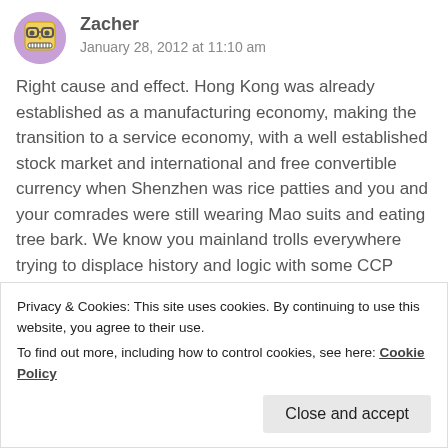[Figure (illustration): User avatar: cartoon robot/emoji face with glasses and a grin, purple circular background]
Zacher
January 28, 2012 at 11:10 am
Right cause and effect. Hong Kong was already established as a manufacturing economy, making the transition to a service economy, with a well established stock market and international and free convertible currency when Shenzhen was rice patties and you and your comrades were still wearing Mao suits and eating tree bark. We know you mainland trolls everywhere trying to displace history and logic with some CCP inspired propaganda. I do
Privacy & Cookies: This site uses cookies. By continuing to use this website, you agree to their use.
To find out more, including how to control cookies, see here: Cookie Policy
Close and accept